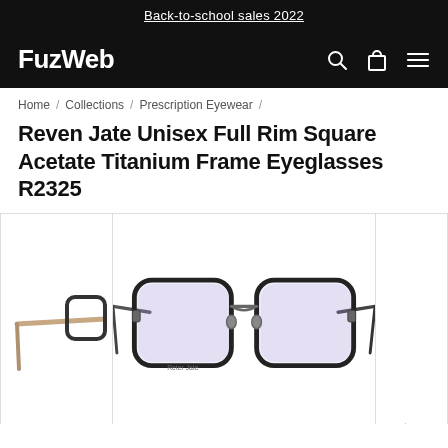Back-to-school sales 2022
FuzWeb
Home / Collections / Prescription Eyewear /
Reven Jate Unisex Full Rim Square Acetate Titanium Frame Eyeglasses R2325
[Figure (photo): Product photo of Reven Jate unisex full rim square acetate titanium frame eyeglasses R2325, showing black square frames with metal bridge and arms, with purple-tinted lenses. A partial view of a gold/tan temple arm is visible on the left, and the right side is partially cropped.]